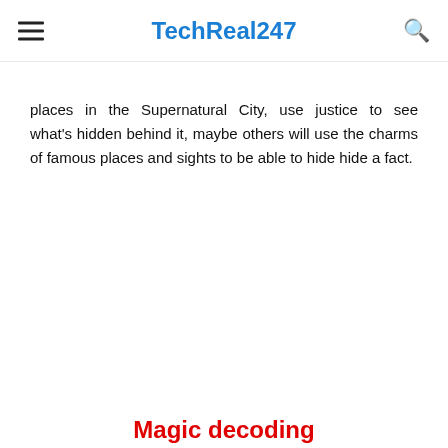TechReal247
places in the Supernatural City, use justice to see what's hidden behind it, maybe others will use the charms of famous places and sights to be able to hide hide a fact.
Magic decoding